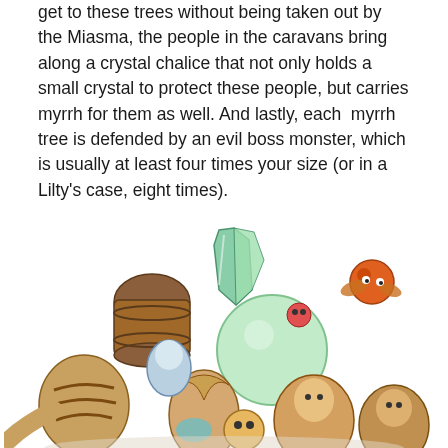get to these trees without being taken out by the Miasma, the people in the caravans bring along a crystal chalice that not only holds a small crystal to protect these people, but carries myrrh for them as well. And lastly, each myrrh tree is defended by an evil boss monster, which is usually at least four times your size (or in a Lilty's case, eight times).
[Figure (illustration): Colorful fantasy game artwork showing a group of characters and creatures clustered together, including humanoid figures, animal-like creatures, a large barrel, a green crystal formation, and a round orange creature with wings in the upper right.]